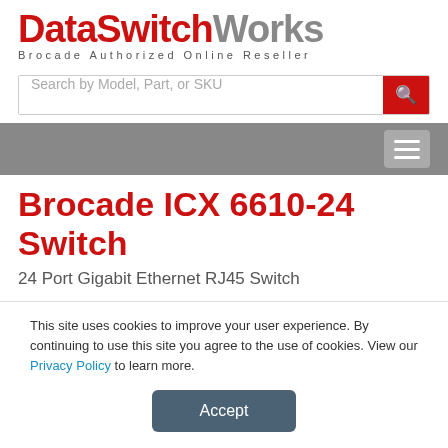[Figure (logo): DataSwitchWorks logo with tagline 'Brocade Authorized Online Reseller'. DataSwitch in red bold, Works in gray bold.]
Search by Model, Part, or SKU
[Figure (other): Gray navigation bar with hamburger menu button on the right]
Brocade ICX 6610-24 Switch
24 Port Gigabit Ethernet RJ45 Switch
This site uses cookies to improve your user experience. By continuing to use this site you agree to the use of cookies. View our Privacy Policy to learn more.
Accept